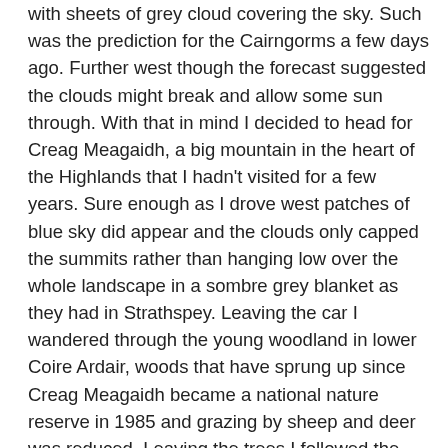with sheets of grey cloud covering the sky. Such was the prediction for the Cairngorms a few days ago. Further west though the forecast suggested the clouds might break and allow some sun through. With that in mind I decided to head for Creag Meagaidh, a big mountain in the heart of the Highlands that I hadn't visited for a few years. Sure enough as I drove west patches of blue sky did appear and the clouds only capped the summits rather than hanging low over the whole landscape in a sombre grey blanket as they had in Strathspey. Leaving the car I wandered through the young woodland in lower Coire Ardair, woods that have sprung up since Creag Meagaidh became a national nature reserve in 1985 and grazing by sheep and deer was reduced. Leaving the trees I followed the curving path into the upper corrie where the great cliff at its head comes into view. One of the biggest mountain cliffs in Britain the Coire Ardair headwall is a dramatic tangle of buttresses, spires, ridges and gullies. At its foot lies Lochan a'Choire beside whose dark cold waters I camped. The ground here was wet but not far above the mountainside was white with snow and when I clambered into the lower reaches of a wide gully high above the lochan I could see massive icefalls decorating the